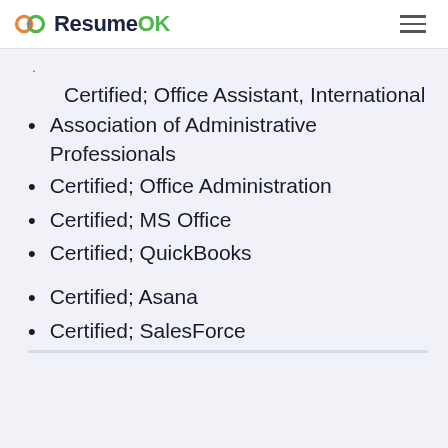ResumeOK
Certified; Office Assistant, International Association of Administrative Professionals
Certified; Office Administration
Certified; MS Office
Certified; QuickBooks
Certified; Asana
Certified; SalesForce